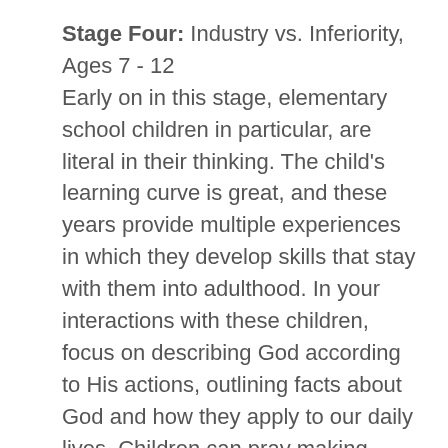Stage Four: Industry vs. Inferiority, Ages 7 - 12 Early on in this stage, elementary school children in particular, are literal in their thinking. The child's learning curve is great, and these years provide multiple experiences in which they develop skills that stay with them into adulthood. In your interactions with these children, focus on describing God according to His actions, outlining facts about God and how they apply to our daily lives. Children can pray making specific requests, and transition into their own personal conversations with God. Sin becomes specific acts of behavior more than an internal